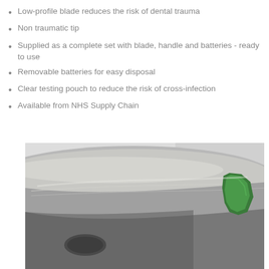Low-profile blade reduces the risk of dental trauma
Non traumatic tip
Supplied as a complete set with blade, handle and batteries - ready to use
Removable batteries for easy disposal
Clear testing pouch to reduce the risk of cross-infection
Available from NHS Supply Chain
[Figure (photo): Close-up photo of a laryngoscope blade — a curved metallic stainless steel blade with a green plastic element visible on the right side, photographed against a light grey background]